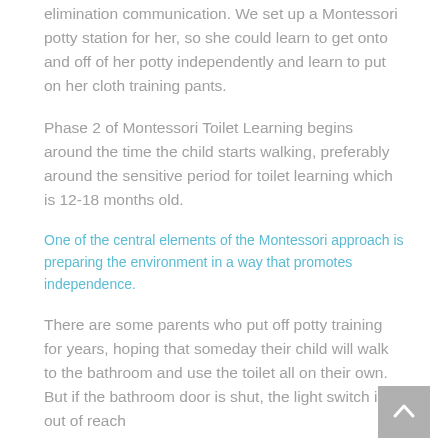elimination communication. We set up a Montessori potty station for her, so she could learn to get onto and off of her potty independently and learn to put on her cloth training pants.
Phase 2 of Montessori Toilet Learning begins around the time the child starts walking, preferably around the sensitive period for toilet learning which is 12-18 months old.
One of the central elements of the Montessori approach is preparing the environment in a way that promotes independence.
There are some parents who put off potty training for years, hoping that someday their child will walk to the bathroom and use the toilet all on their own. But if the bathroom door is shut, the light switch is out of reach